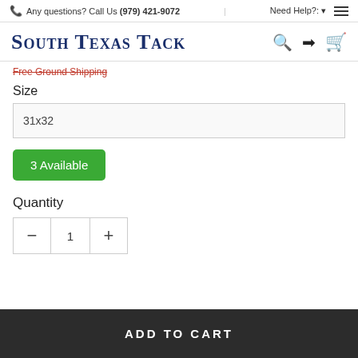Any questions? Call Us (979) 421-9072  |  Need Help?:
[Figure (logo): South Texas Tack brand logo in dark blue serif small-caps font with search, login, and cart icons]
Free Ground Shipping
Size
31x32
3 Available
Quantity
1
ADD TO CART